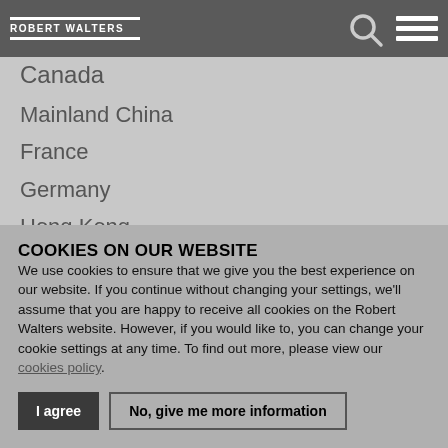Robert Walters navigation bar with logo, search icon, and hamburger menu
Canada
Mainland China
France
Germany
Hong Kong
Indonesia
Ireland
Italy
Japan
Malaysia
Mexico
Middle East
COOKIES ON OUR WEBSITE
We use cookies to ensure that we give you the best experience on our website. If you continue without changing your settings, we'll assume that you are happy to receive all cookies on the Robert Walters website. However, if you would like to, you can change your cookie settings at any time. To find out more, please view our cookies policy.
I agree | No, give me more information